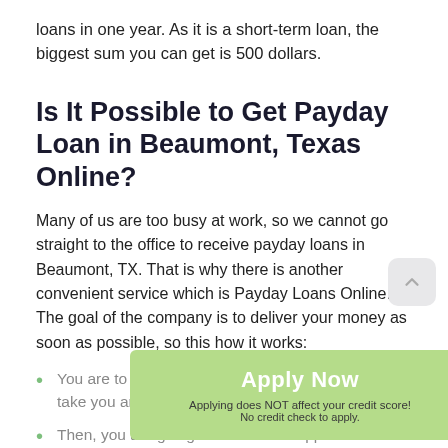loans in one year. As it is a short-term loan, the biggest sum you can get is 500 dollars.
Is It Possible to Get Payday Loan in Beaumont, Texas Online?
Many of us are too busy at work, so we cannot go straight to the office to receive payday loans in Beaumont, TX. That is why there is another convenient service which is Payday Loans Online. The goal of the company is to deliver your money as soon as possible, so this how it works:
You are to complete an easy application which will take you around five minutes;
Then, you are going to wait for the approval. It will take just a few minutes.
[Figure (other): Green 'Apply Now' button overlay with text 'Applying does NOT affect your credit score!' and 'No credit check to apply.']